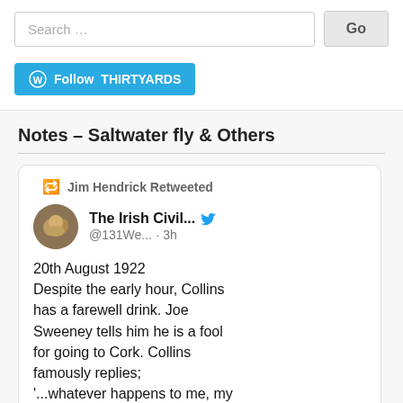Search …
Go
[Figure (screenshot): WordPress Follow THIRTYARDS button in blue]
Notes – Saltwater fly & Others
[Figure (screenshot): Tweet card: Jim Hendrick Retweeted. The Irish Civil... @131We... · 3h. 20th August 1922 Despite the early hour, Collins has a farewell drink. Joe Sweeney tells him he is a fool for going to Cork. Collins famously replies; '...whatever happens to me, my own fellow county-men won't kill me']